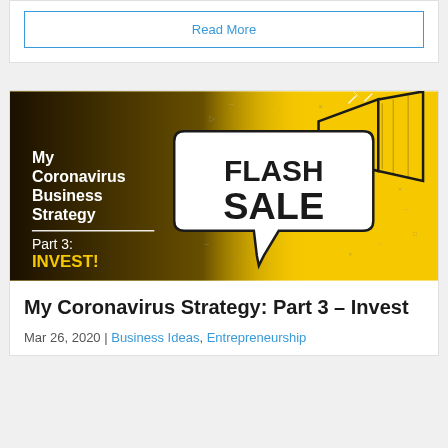Read More
[Figure (illustration): Blog post featured image with yellow and black gradient background, a speech bubble showing 'FLASH SALE', a megaphone icon, decorative shapes, and white text on the left reading 'My Coronavirus Business Strategy' with a divider and 'Part 3: INVEST!' below in yellow.]
My Coronavirus Strategy: Part 3 – Invest
Mar 26, 2020 | Business Ideas, Entrepreneurship